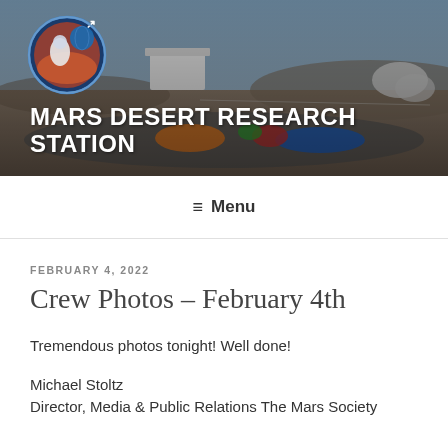[Figure (photo): Mars Desert Research Station header banner with aerial photo of MDRS habitat and large group of people, with MDRS logo in upper left corner]
MARS DESERT RESEARCH STATION
≡ Menu
FEBRUARY 4, 2022
Crew Photos – February 4th
Tremendous photos tonight! Well done!
Michael Stoltz
Director, Media & Public Relations The Mars Society